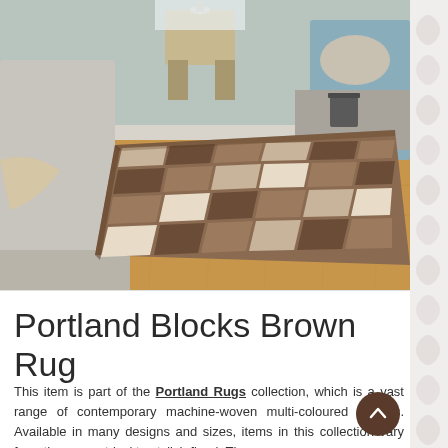[Figure (photo): A brown and cream geometric block-patterned rug laid on a light oak hardwood floor in a living room setting. The rug features a checkered grid of squares in varying shades of brown, taupe, and cream/beige. In the background are furniture items including a stool and an armchair.]
Portland Blocks Brown Rug
This item is part of the Portland Rugs collection, which is a vast range of contemporary machine-woven multi-coloured carpets. Available in many designs and sizes, items in this collection vary from the geometrical to stylish floral. The rugs